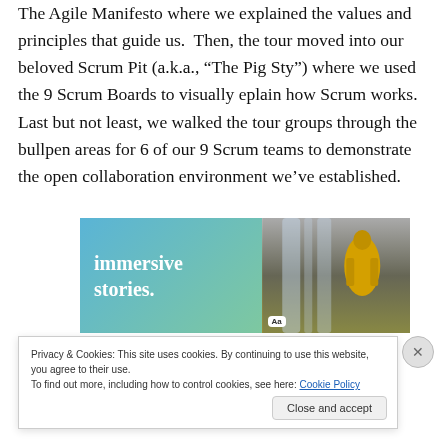The Agile Manifesto where we explained the values and principles that guide us.  Then, the tour moved into our beloved Scrum Pit (a.k.a., “The Pig Sty”) where we used the 9 Scrum Boards to visually eplain how Scrum works. Last but not least, we walked the tour groups through the bullpen areas for 6 of our 9 Scrum teams to demonstrate the open collaboration environment we’ve established.
[Figure (other): Advertisement banner showing 'immersive stories.' text on a blue-green gradient background on the left, and a photo of a person climbing near a waterfall on the right, with an 'Aa' badge overlay.]
Privacy & Cookies: This site uses cookies. By continuing to use this website, you agree to their use.
To find out more, including how to control cookies, see here: Cookie Policy
Close and accept